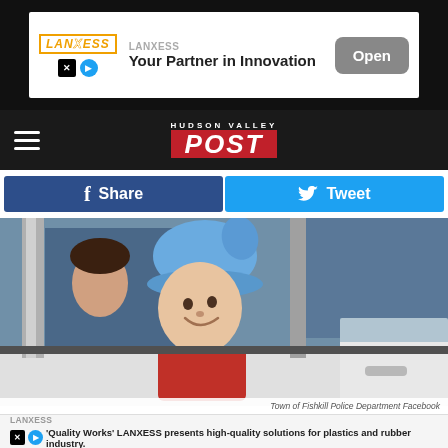[Figure (other): LANXESS advertisement banner at top: logo, 'Your Partner in Innovation', Open button]
HUDSON VALLEY POST
[Figure (other): Facebook Share button and Twitter Tweet button social sharing bar]
[Figure (photo): Photo of a child wearing a blue beanie hat smiling out of a car window, with another child visible in background]
Town of Fishkill Police Department Facebook
[Figure (other): LANXESS advertisement at bottom: 'Quality Works' LANXESS presents high-quality solutions for plastics and rubber industry.]